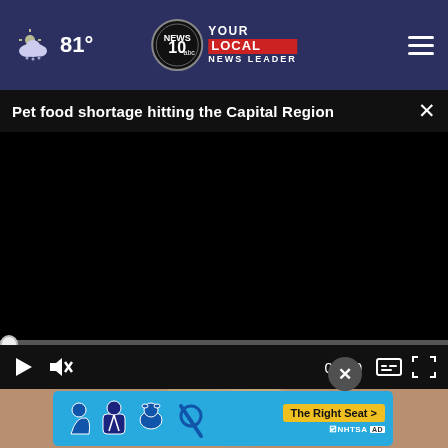81° — NEWS 10 YOUR LOCAL NEWS LEADER
Pet food shortage hitting the Capital Region
[Figure (screenshot): Video player showing black screen (video not loaded), with a progress bar at zero and playback controls (play button, mute, timestamp 00:00, captions, fullscreen)]
[Figure (photo): Close-up photo of a dog's face/chin area, partially visible at bottom of page]
[Figure (infographic): NHTSA advertisement banner with blue background showing car seat icons and 'The Right Seat >' call-to-action button in yellow]